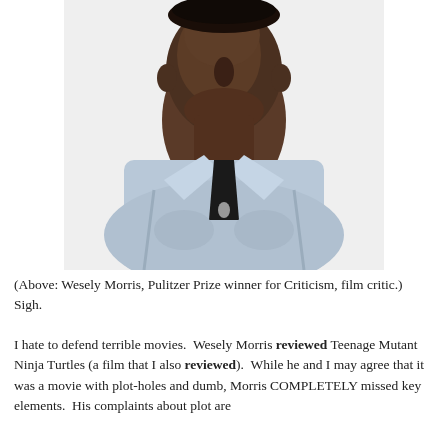[Figure (photo): Headshot photo of Wesely Morris, a Black man wearing a light blue collared shirt, against a white background. The photo shows his face and upper torso.]
(Above: Wesely Morris, Pulitzer Prize winner for Criticism, film critic.) Sigh.
I hate to defend terrible movies.  Wesely Morris reviewed Teenage Mutant Ninja Turtles (a film that I also reviewed).  While he and I may agree that it was a movie with plot-holes and dumb, Morris COMPLETELY missed key elements.  His complaints about plot are